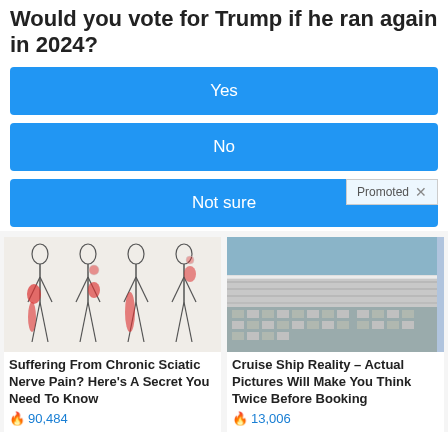Would you vote for Trump if he ran again in 2024?
Yes
No
Not sure
Promoted  X
[Figure (illustration): Medical illustration showing four human body silhouettes with red highlighted areas indicating sciatic nerve pain pathways along the hip and leg]
Suffering From Chronic Sciatic Nerve Pain? Here's A Secret You Need To Know
90,484
[Figure (photo): Aerial photo of a cruise ship deck and surrounding dock area with cars and infrastructure visible]
Cruise Ship Reality – Actual Pictures Will Make You Think Twice Before Booking
13,006